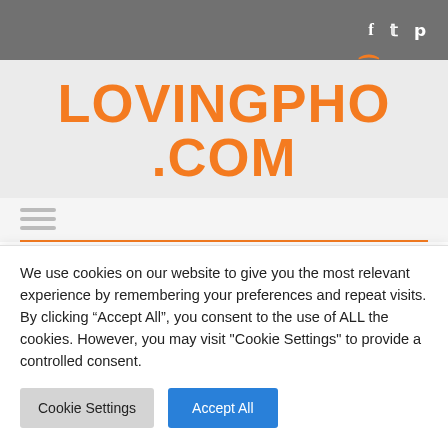f  t  p (social icons)
[Figure (logo): LovingPho.com logo in orange bold text with a stylized hook diacritic above the o in Pho]
[Figure (other): Hamburger menu icon (three horizontal lines) followed by an orange horizontal rule]
TAG: PHO NOODLE
We use cookies on our website to give you the most relevant experience by remembering your preferences and repeat visits. By clicking “Accept All”, you consent to the use of ALL the cookies. However, you may visit "Cookie Settings" to provide a controlled consent.
Cookie Settings  |  Accept All